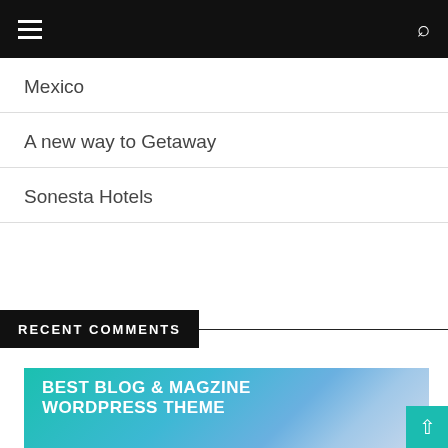≡ [hamburger menu] [search icon]
Mexico
A new way to Getaway
Sonesta Hotels
RECENT COMMENTS
[Figure (illustration): Banner image with teal-to-blue sky gradient background and text 'BEST BLOG & MAGZINE WORDPRESS THEME' in bold white uppercase letters, with a partial silhouette of a person at the bottom right.]